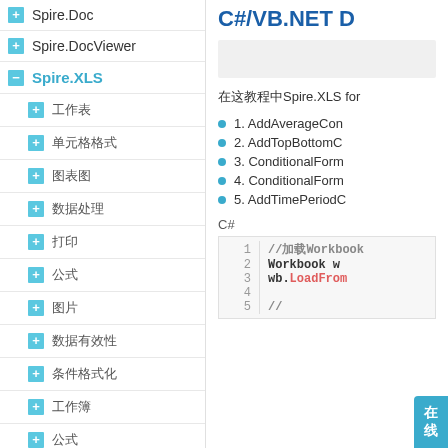+ Spire.Doc
+ Spire.DocViewer
- Spire.XLS
+ 工作表
+ 单元格格式
+ 图表图
+ 数据处理
+ 打印
+ 公式
+ 图片
+ 数据有效性
+ 条件格式化
+ 工作簿
+ 公式
C#/VB.NET D...
[Figure (screenshot): Search bar / input field]
在这教程中Spire.XLS for ...
1. AddAverageCon...
2. AddTopBottomC...
3. ConditionalForm...
4. ConditionalForm...
5. AddTimePeriodC...
C#
1  //加载Workbook
2  Workbook w...
3  wb.LoadFrom...
4  
5  //...